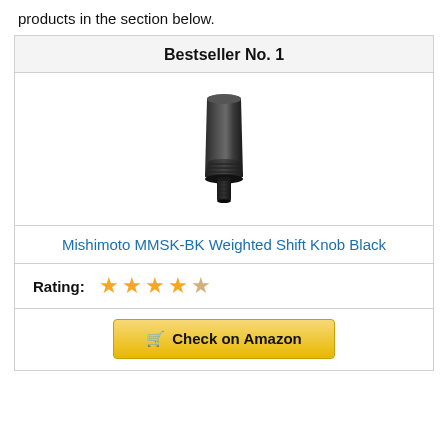products in the section below.
Bestseller No. 1
[Figure (photo): Black shift knob product photo - Mishimoto MMSK-BK Weighted Shift Knob Black]
Mishimoto MMSK-BK Weighted Shift Knob Black
Rating: ★★★★☆ (4 out of 5 stars)
Check on Amazon